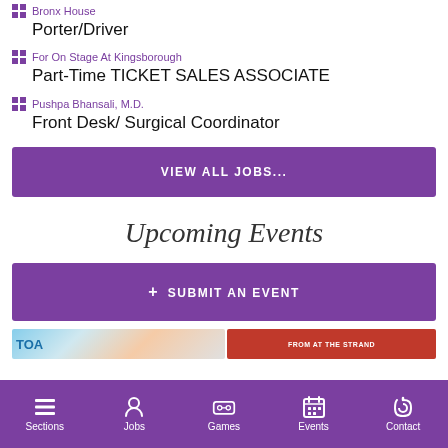Bronx House — Porter/Driver
For On Stage At Kingsborough — Part-Time TICKET SALES ASSOCIATE
Pushpa Bhansali, M.D. — Front Desk/ Surgical Coordinator
VIEW ALL JOBS...
Upcoming Events
+ SUBMIT AN EVENT
Sections | Jobs | Games | Events | Contact